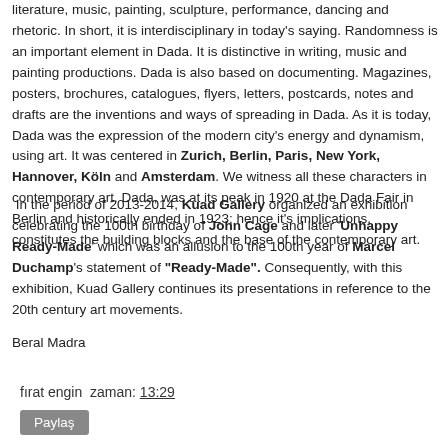literature, music, painting, sculpture, performance, dancing and rhetoric. In short, it is interdisciplinary in today's saying. Randomness is an important element in Dada. It is distinctive in writing, music and painting productions. Dada is also based on documenting. Magazines, posters, brochures, catalogues, flyers, letters, postcards, notes and drafts are the inventions and ways of spreading in Dada. As it is today, Dada was the expression of the modern city's energy and dynamism, using art. It was centered in Zurich, Berlin, Paris, New York, Hannover, Köln and Amsterdam. We witness all these characters in contemporary art. Dada, was at its peak in 1920 at the Dada Fair in Berlin and historically ended in 1923; hence it's implications, constitutes the building blocks and the base of the contemporary art.
In the period of 2013-2014, Kuad Gallery organized an exhibition celebrating the 100th birthday of John Cage and later 'Unhappy Ready-Made' which was an allusion to the 100th year of Marcel Duchamp's statement of "Ready-Made". Consequently, with this exhibition, Kuad Gallery continues its presentations in reference to the 20th century art movements.
Beral Madra
fırat engin zaman: 13:29
Paylaş